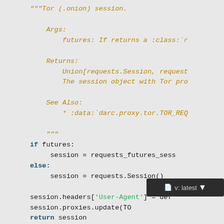"""Tor (.onion) session.

    Args:
        futures: If returns a :class:`r

    Returns:
        Union[requests.Session, request
        The session object with Tor pro

    See Also:
        * :data:`darc.proxy.tor.TOR_REQ

    """
    if futures:
        session = requests_futures_sess
    else:
        session = requests.Session()

    session.headers['User-Agent'] = def
    session.proxies.update(TO
    return session